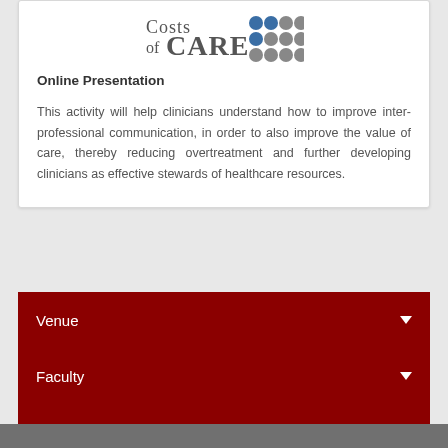[Figure (logo): Costs of Care logo with colored dots]
Online Presentation
This activity will help clinicians understand how to improve inter-professional communication, in order to also improve the value of care, thereby reducing overtreatment and further developing clinicians as effective stewards of healthcare resources.
Venue
Faculty
Accreditation
Get Started!